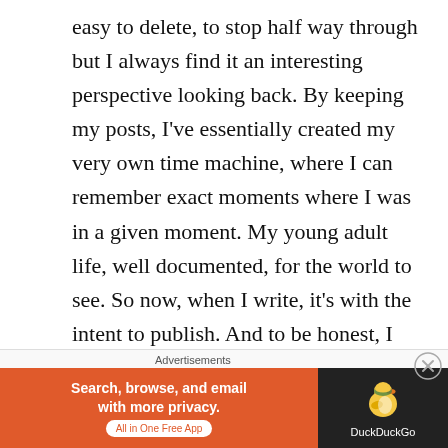easy to delete, to stop half way through but I always find it an interesting perspective looking back. By keeping my posts, I've essentially created my very own time machine, where I can remember exact moments where I was in a given moment. My young adult life, well documented, for the world to see. So now, when I write, it's with the intent to publish. And to be honest, I regret deleting my earlier posts. God and I have a complicated relationship but reading my thought process at a time when I was full blown atheist was fascinating. Over time, the article will fade into the abyss, but I have to wonder if I'll ever tackle
[Figure (screenshot): DuckDuckGo advertisement banner with orange left section reading 'Search, browse, and email with more privacy. All in One Free App' and dark right section with DuckDuckGo duck logo and brand name.]